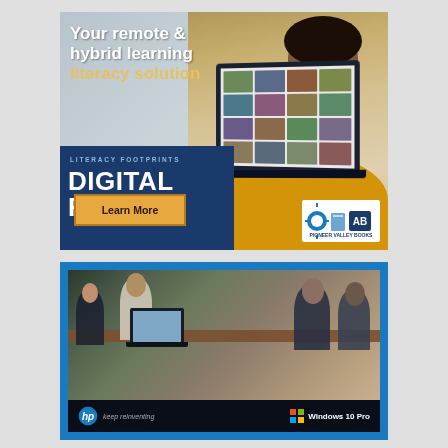[Figure (illustration): Advertisement for Literacy Footprints Digital Reader. Shows a child using a laptop with book thumbnails on screen. Dark blue panel on lower left with product branding. Text: 'Your remote & hybrid learning literacy solution', 'LITERACY FOOTPRINTS', 'DIGITAL READER', 'Learn More' button, Pioneer Valley Books logo.]
[Figure (illustration): HP advertisement showing classroom scene with students and teacher around a laptop. Blue border. Bottom bar shows HP logo with 'keep reinventing' tagline and Windows 10 Pro logo.]